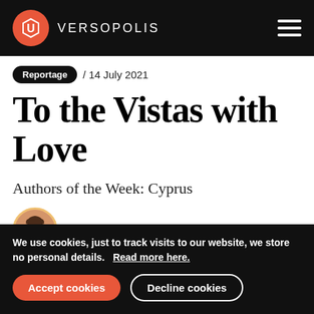VERSOPOLIS
Reportage / 14 July 2021
To the Vistas with Love
Authors of the Week: Cyprus
by Eleni Philippou
We use cookies, just to track visits to our website, we store no personal details.   Read more here.
Accept cookies   Decline cookies